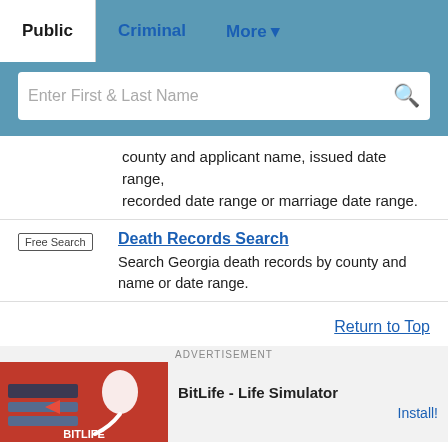Public | Criminal | More
[Figure (screenshot): Search bar with placeholder text 'Enter First & Last Name' and a magnifying glass icon on a teal/blue background]
county and applicant name, issued date range, recorded date range or marriage date range.
Free Search — Death Records Search — Search Georgia death records by county and name or date range.
Return to Top
[Figure (screenshot): Advertisement banner for BitLife - Life Simulator app with Install button]